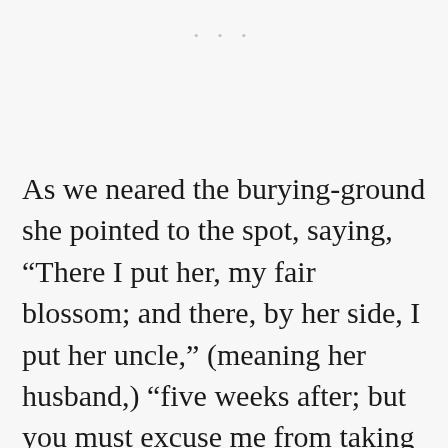As we neared the burying-ground she pointed to the spot, saying, “There I put her, my fair blossom; and there, by her side, I put her uncle,” (meaning her husband,) “five weeks after; but you must excuse me from taking you there, for I could not venture myself where they lie, because they will give me no welcome, nor speak a kind word, as